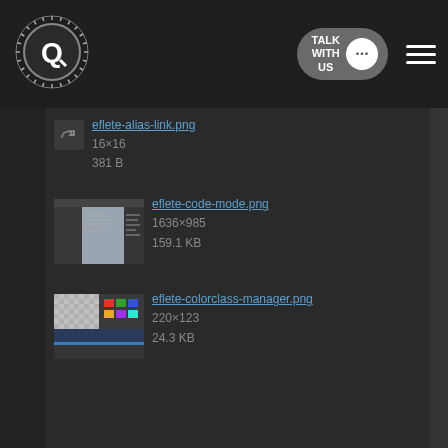[Figure (logo): Circular logo with gear-like border and Q letter, white on dark background]
eflete-alias-link.png
16×16
381 B
eflete-code-mode.png
1636×985
159.1 KB
eflete-colorclass-manager.png
220×123
24.3 KB